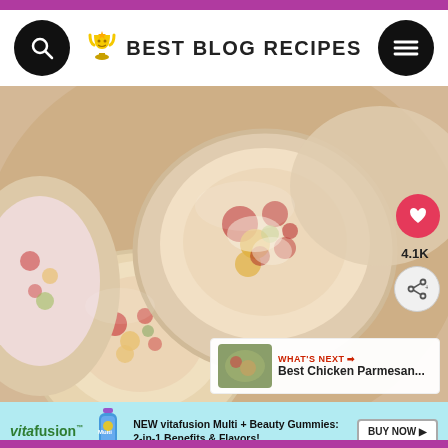BEST BLOG RECIPES
[Figure (photo): Close-up photo of rolled tortilla pinwheel sandwiches filled with a creamy mixture of cheese, bacon, and vegetables, showing the spiral cross-sections of multiple rolls.]
[Figure (photo): Thumbnail image of Best Chicken Parmesan recipe]
WHAT'S NEXT → Best Chicken Parmesan...
[Figure (screenshot): Advertisement banner for vitafusion Multi + Beauty Gummies: NEW vitafusion Multi + Beauty Gummies: 2-in-1 Benefits & Flavors! BUY NOW]